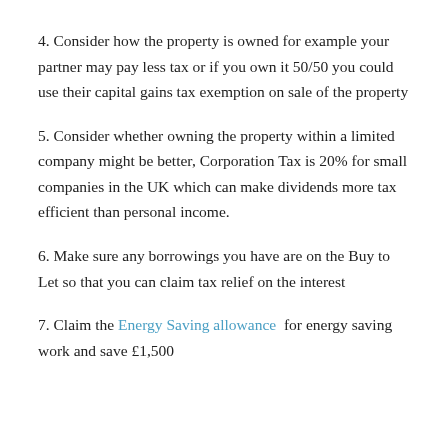4. Consider how the property is owned for example your partner may pay less tax or if you own it 50/50 you could use their capital gains tax exemption on sale of the property
5. Consider whether owning the property within a limited company might be better, Corporation Tax is 20% for small companies in the UK which can make dividends more tax efficient than personal income.
6. Make sure any borrowings you have are on the Buy to Let so that you can claim tax relief on the interest
7. Claim the Energy Saving allowance for energy saving work and save £1,500